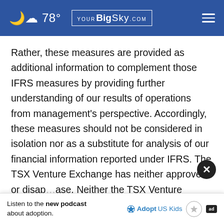78° YOUR Big Sky.com
Rather, these measures are provided as additional information to complement those IFRS measures by providing further understanding of our results of operations from management's perspective. Accordingly, these measures should not be considered in isolation nor as a substitute for analysis of our financial information reported under IFRS. The TSX Venture Exchange has neither approved or disapproved... Neither the TSX Venture Exchange nor its
[Figure (infographic): Advertisement bar: 'Listen to the new podcast about adoption.' with Adopt US Kids logo and ad badge. Close button (X) overlapping text above.]